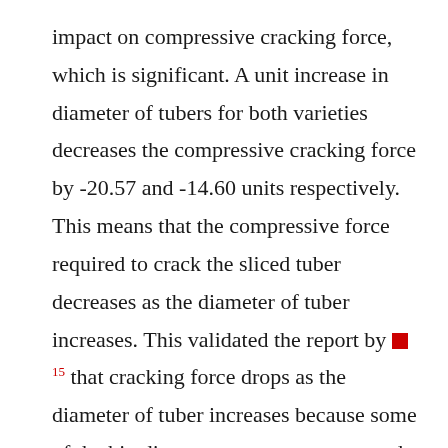impact on compressive cracking force, which is significant. A unit increase in diameter of tubers for both varieties decreases the compressive cracking force by -20.57 and -14.60 units respectively. This means that the compressive force required to crack the sliced tuber decreases as the diameter of tuber increases. This validated the report by [15] that cracking force drops as the diameter of tuber increases because some of the big diameter roots are so matured that naturally before harvesting them, they had already developed inner central cracks which served as easy crack initiation points. But differed with the report of earlier works that